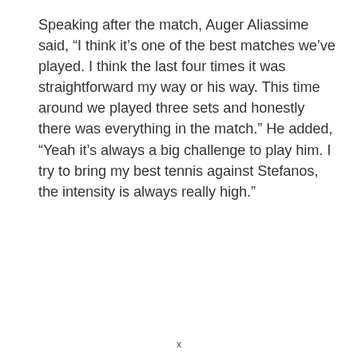Speaking after the match, Auger Aliassime said, “I think it’s one of the best matches we’ve played. I think the last four times it was straightforward my way or his way. This time around we played three sets and honestly there was everything in the match.” He added, “Yeah it’s always a big challenge to play him. I try to bring my best tennis against Stefanos, the intensity is always really high.”
X